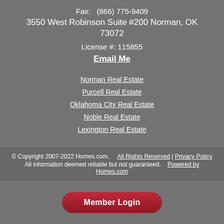Fax:  (866) 775-9409
3550 West Robinson Suite #200 Norman, OK 73072
License #: 115855
Email Me
Norman Real Estate
Purcell Real Estate
Oklahoma City Real Estate
Noble Real Estate
Lexington Real Estate
© Copyright 2007-2022 Homes.com. All Rights Reserved | Privacy Policy All information deemed reliable but not guaranteed. Powered by Homes.com
Member Login
DMCA Notice   Sitemap